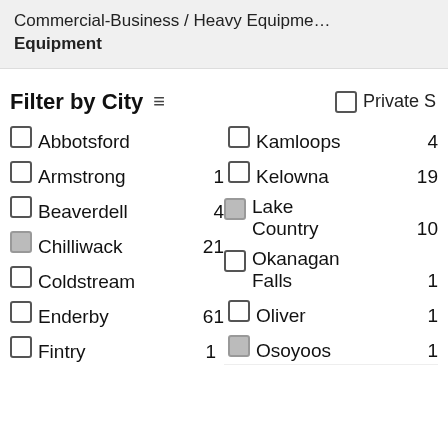Commercial-Business / Heavy Equipment Equipment
Filter by City
Abbotsford
Kamloops 4
Armstrong 1
Kelowna 19
Beaverdell 4
Lake Country 10
Chilliwack 21
Okanagan Falls 1
Coldstream
Oliver 1
Enderby 61
Osoyoos 1
Fintry 1